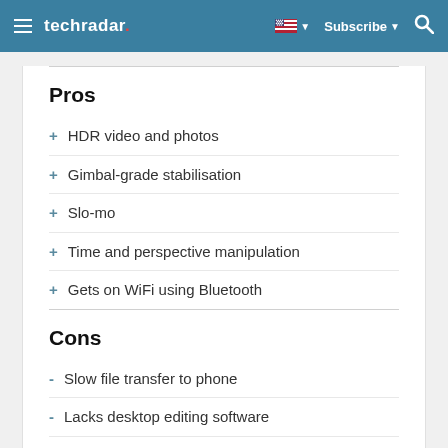techradar — Subscribe
Pros
+ HDR video and photos
+ Gimbal-grade stabilisation
+ Slo-mo
+ Time and perspective manipulation
+ Gets on WiFi using Bluetooth
Cons
- Slow file transfer to phone
- Lacks desktop editing software
- Short battery life
- Not waterproof